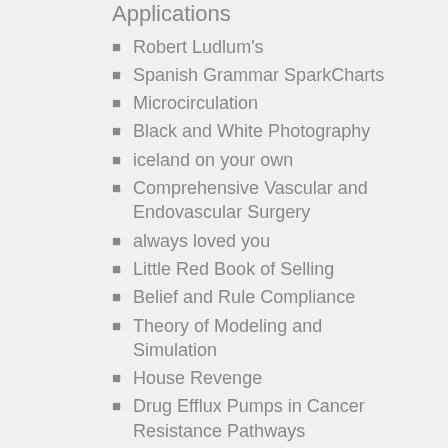Applications
Robert Ludlum's
Spanish Grammar SparkCharts
Microcirculation
Black and White Photography
iceland on your own
Comprehensive Vascular and Endovascular Surgery
always loved you
Little Red Book of Selling
Belief and Rule Compliance
Theory of Modeling and Simulation
House Revenge
Drug Efflux Pumps in Cancer Resistance Pathways
Learning from the Impacts of Superstorm Sandy
Stress Management Skills Training